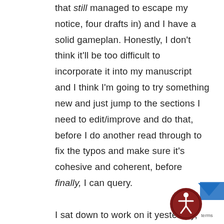that still managed to escape my notice, four drafts in) and I have a solid gameplan. Honestly, I don't think it'll be too difficult to incorporate it into my manuscript and I think I'm going to try something new and just jump to the sections I need to edit/improve and do that, before I do another read through to fix the typos and make sure it's cohesive and coherent, before finally, I can query.

I sat down to work on it yesterday, deciding to let my Artemis project wait, because my passion, right now, is for BLOOD PRICE and I am so close; so,